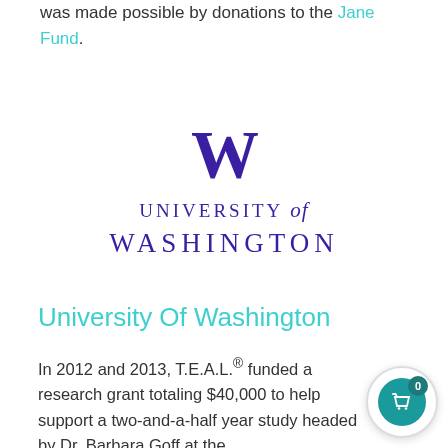was made possible by donations to the Jane Fund.
[Figure (logo): University of Washington logo with large purple W and text UNIVERSITY of WASHINGTON]
University Of Washington
In 2012 and 2013, T.E.A.L.® funded a research grant totaling $40,000 to help support a two-and-a-half year study headed by Dr. Barbara Goff at the